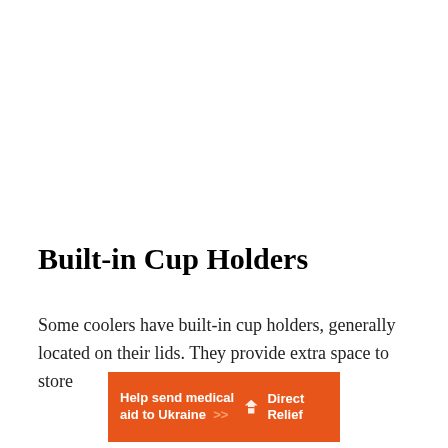Built-in Cup Holders
Some coolers have built-in cup holders, generally located on their lids. They provide extra space to store
[Figure (other): Orange advertisement banner for Direct Relief: 'Help send medical aid to Ukraine >>' with Direct Relief logo on the right]